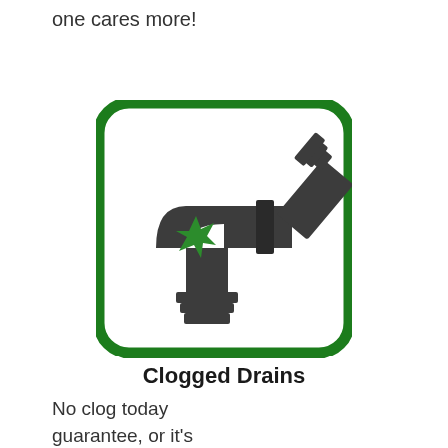one cares more!
[Figure (illustration): Icon of clogged drain pipes with a green star/burst symbol indicating a clog, inside a rounded square with green border]
Clogged Drains
No clog today guarantee, or it's free.